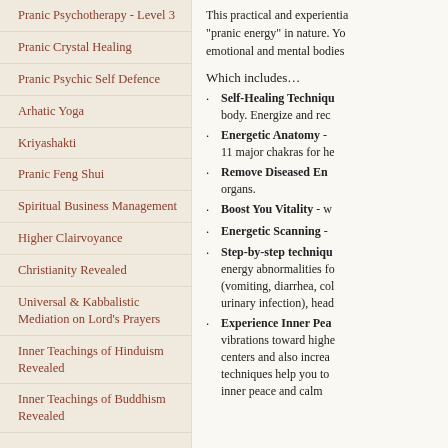Pranic Psychotherapy - Level 3
Pranic Crystal Healing
Pranic Psychic Self Defence
Arhatic Yoga
Kriyashakti
Pranic Feng Shui
Spiritual Business Management
Higher Clairvoyance
Christianity Revealed
Universal & Kabbalistic Mediation on Lord's Prayers
Inner Teachings of Hinduism Revealed
Inner Teachings of Buddhism Revealed
This practical and experiential... "pranic energy" in nature. Yo... emotional and mental bodies...
Which includes…
Self-Healing Techniqu... body. Energize and rec...
Energetic Anatomy - ... 11 major chakras for he...
Remove Diseased En... organs.
Boost You Vitality - w...
Energetic Scanning - ...
Step-by-step techniqu... energy abnormalities fo... (vomiting, diarrhea, col... urinary infection), head...
Experience Inner Pea... vibrations toward highe... centers and also increa... techniques help you to... inner peace and calm...